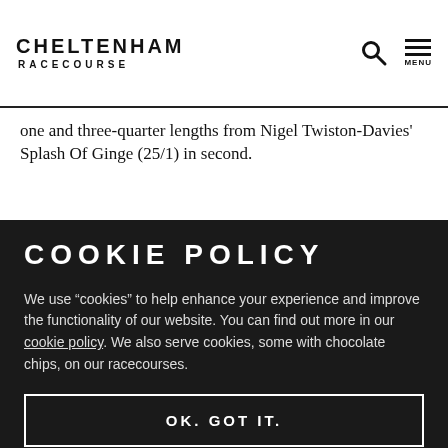CHELTENHAM RACECOURSE
one and three-quarter lengths from Nigel Twiston-Davies' Splash Of Ginge (25/1) in second.
COOKIE POLICY
We use “cookies” to help enhance your experience and improve the functionality of our website. You can find out more in our cookie policy. We also serve cookies, some with chocolate chips, on our racecourses.
OK. GOT IT.